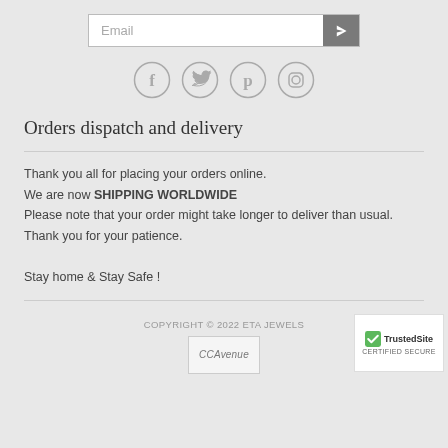[Figure (other): Email input box with submit arrow button]
[Figure (other): Social media icons: Facebook, Twitter, Pinterest, Instagram]
Orders dispatch and delivery
Thank you all for placing your orders online.
We are now SHIPPING WORLDWIDE
Please note that your order might take longer to deliver than usual.
Thank you for your patience.

Stay home & Stay Safe !
COPYRIGHT © 2022 ETA JEWELS
[Figure (logo): CCAvenue payment gateway logo]
[Figure (logo): TrustedSite Certified Secure badge]